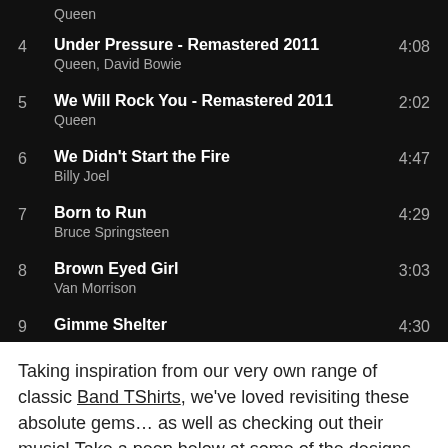Queen
4  Under Pressure - Remastered 2011  4:08  Queen, David Bowie
5  We Will Rock You - Remastered 2011  2:02  Queen
6  We Didn't Start the Fire  4:47  Billy Joel
7  Born to Run  4:29  Bruce Springsteen
8  Brown Eyed Girl  3:03  Van Morrison
9  Gimme Shelter  4:30
Taking inspiration from our very own range of classic Band TShirts, we've loved revisiting these absolute gems… as well as checking out their music! Take a peep below at some of the designs that have inspired the playlist and maybe pick out something special for your